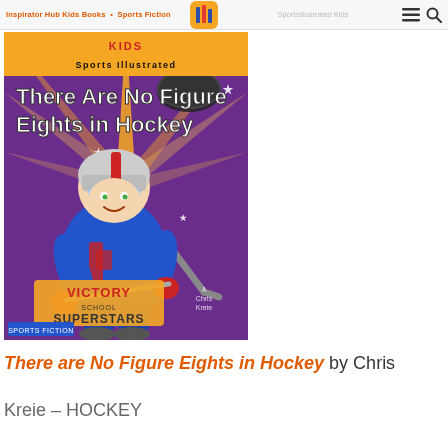Inspirator Hub – Sports Fiction Kids Books
[Figure (illustration): Book cover of 'There Are No Figure Eights in Hockey' from the Victory School Superstars series, illustrated for kids. Shows a cartoon boy hockey player in blue uniform with helmet, holding a hockey stick, against a purple starburst background with stars and a hockey puck. Labeled as Sports Fiction. By Chris Kreie.]
There are No Figure Eights in Hockey by Chris Kreie – HOCKEY